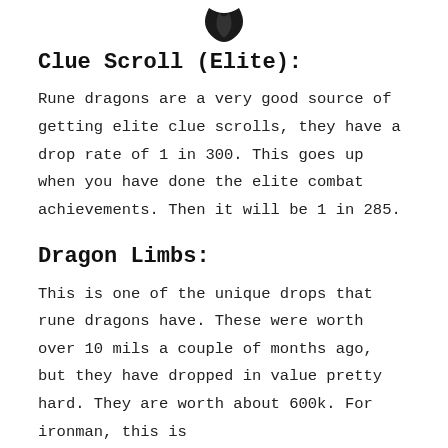[Figure (illustration): Partial image of a game item or creature icon at the top of the page, cropped]
Clue Scroll (Elite):
Rune dragons are a very good source of getting elite clue scrolls, they have a drop rate of 1 in 300. This goes up when you have done the elite combat achievements. Then it will be 1 in 285.
Dragon Limbs:
This is one of the unique drops that rune dragons have. These were worth over 10 mils a couple of months ago, but they have dropped in value pretty hard. They are worth about 600k. For ironman, this is